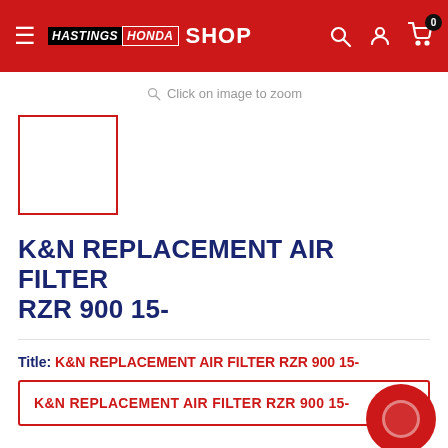HASTINGS HONDA SHOP
Click on image to zoom
[Figure (other): Product thumbnail placeholder with red border]
K&N REPLACEMENT AIR FILTER RZR 900 15-
Title: K&N REPLACEMENT AIR FILTER RZR 900 15-
K&N REPLACEMENT AIR FILTER RZR 900 15-